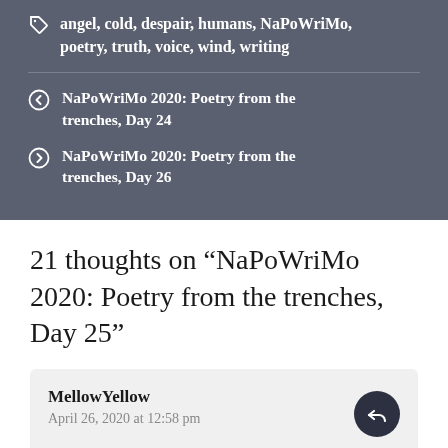angel, cold, despair, humans, NaPoWriMo, poetry, truth, voice, wind, writing
NaPoWriMo 2020: Poetry from the trenches, Day 24
NaPoWriMo 2020: Poetry from the trenches, Day 26
21 thoughts on “NaPoWriMo 2020: Poetry from the trenches, Day 25”
MellowYellow
April 26, 2020 at 12:58 pm